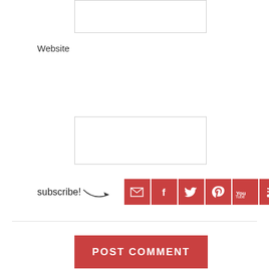Website
[Figure (screenshot): Website input text field (partial view at top, and full input box below label)]
[Figure (screenshot): POST COMMENT button - red/dark red background with white uppercase text]
[Figure (infographic): Subscribe section with handwritten 'subscribe!' text, curved arrow, and 6 social media icons (email, Facebook, Twitter, Pinterest, YouTube, RSS) in red squares]